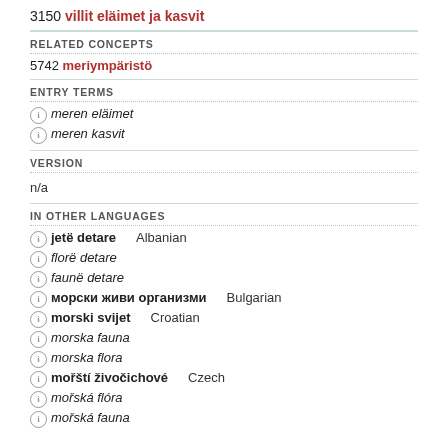3150 villit eläimet ja kasvit
RELATED CONCEPTS
5742 meriympäristö
ENTRY TERMS
meren eläimet
meren kasvit
VERSION
n/a
IN OTHER LANGUAGES
jetë detare — Albanian
florë detare
faunë detare
морски живи организми — Bulgarian
morski svijet — Croatian
morska fauna
morska flora
mořští živočichové — Czech
mořská flóra
mořská fauna